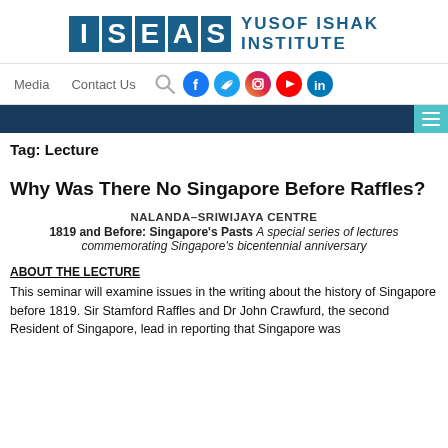[Figure (logo): ISEAS Yusof Ishak Institute logo with blue block letters and institute name]
Media   Contact Us   [search] [facebook] [twitter] [instagram] [youtube] [linkedin]
Tag: Lecture
Why Was There No Singapore Before Raffles?
NALANDA–SRIWIJAYA CENTRE
1819 and Before: Singapore's Pasts A special series of lectures commemorating Singapore's bicentennial anniversary
ABOUT THE LECTURE
This seminar will examine issues in the writing about the history of Singapore before 1819. Sir Stamford Raffles and Dr John Crawfurd, the second Resident of Singapore, lead in reporting that Singapore was